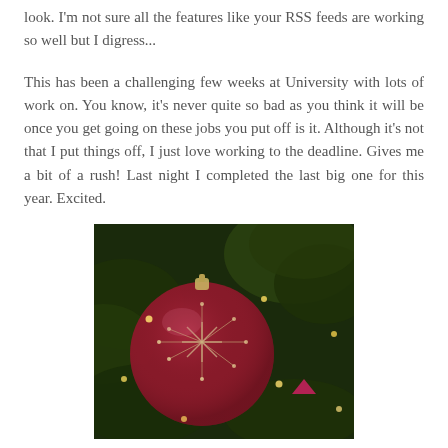look.  I'm not sure all the features like your RSS feeds are working so well but I digress...
This has been a challenging few weeks at University with lots of work on.  You know, it's never quite so bad as you think it will be once you get going on these jobs you put off is it. Although it's not that I put things off, I just love working to the deadline.  Gives me a bit of a rush!  Last night I completed the last big one for this year.  Excited.
[Figure (photo): A red/crimson Christmas ornament ball with silver glitter snowflake decoration, hanging on a dark green pine Christmas tree with small warm white lights and a smaller pink/magenta ornament visible in the background.]